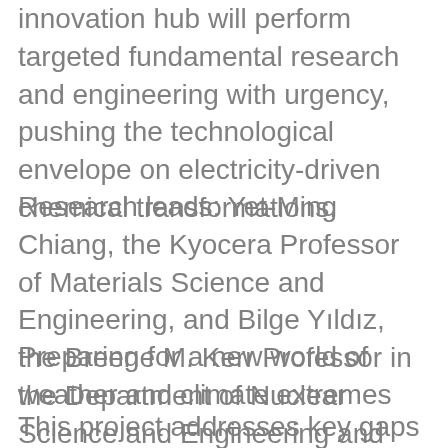innovation hub will perform targeted fundamental research and engineering with urgency, pushing the technological envelope on electricity-driven chemical transformations.
Research leads: Yet-Ming Chiang, the Kyocera Professor of Materials Science and Engineering, and Bilge Yıldız, the Breene M. Kerr Professor in the Department of Nuclear Science and Engineering and professor in the Department of Materials Science and Engineering
Preparing for a new world of weather and climate extremes
This project addresses key gaps in knowledge about intensifying extreme events such as